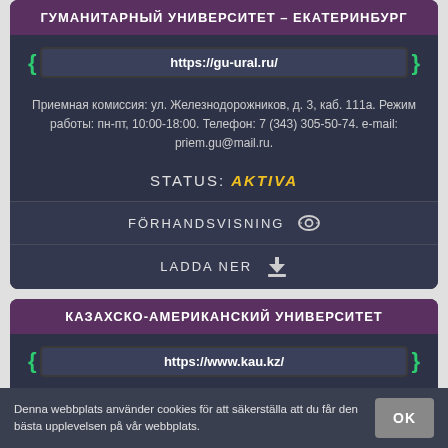ГУМАНИТАРНЫЙ УНИВЕРСИТЕТ – ЕКАТЕРИНБУРГ
https://gu-ural.ru/
Приемная комиссия: ул. Железнодорожников, д. 3, каб. 111а. Режим работы: пн-пт, 10:00-18:00. Телефон: 7 (343) 305-50-74. e-mail: priem.gu@mail.ru.
STATUS: AKTIVA
FÖRHANDSVISNING
LADDA NER
КАЗАХСКО-АМЕРИКАНСКИЙ УНИВЕРСИТЕТ
https://www.kau.kz/
ПРОСИМ СВЯЗАТЬСЯ ПО УКАЗАННЫМ КОНТАКТАМ.
Denna webbplats använder cookies för att säkerställa att du får den bästa upplevelsen på vår webbplats.